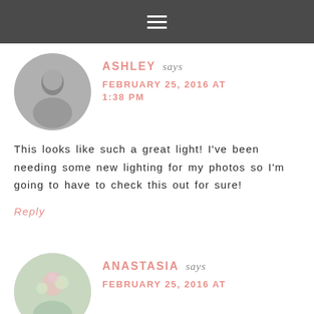≡
[Figure (photo): Circular avatar photo of Ashley, black and white image of a person outdoors]
ASHLEY says
FEBRUARY 25, 2016 AT 1:38 PM
This looks like such a great light! I've been needing some new lighting for my photos so I'm going to have to check this out for sure!
Reply
[Figure (photo): Circular avatar photo of Anastasia, woman with flowers]
ANASTASIA says
FEBRUARY 25, 2016 AT